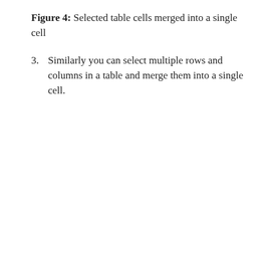Figure 4: Selected table cells merged into a single cell
Similarly you can select multiple rows and columns in a table and merge them into a single cell.